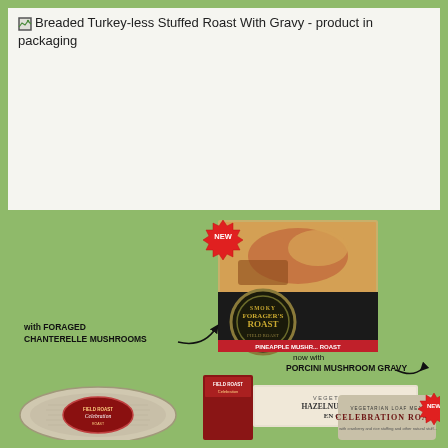Breaded Turkey-less Stuffed Roast With Gravy - product in packaging
[Figure (photo): Product packaging photo showing Smoky Forager's Field Roast (Pineapple Mushroom Roast) box with 'NEW' starburst label, annotation 'with FORAGED CHANTERELLE MUSHROOMS' with arrow, and 'now with PORCINI MUSHROOM GRAVY' annotation with arrow. Also shows Hazelnut Cranberry En Ca... box and Celebration Roast cylindrical packaging with 'NEW' label, and a Celebration circular product. Background is olive/sage green.]